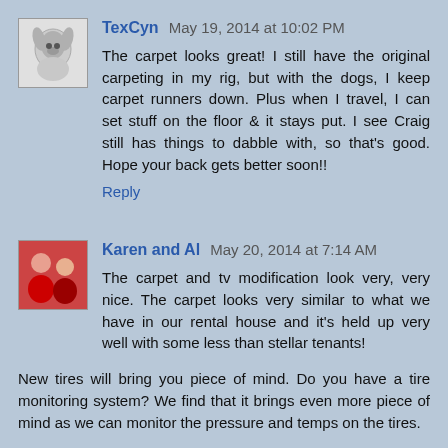[Figure (photo): Avatar thumbnail of TexCyn user showing a dog or animal face]
TexCyn May 19, 2014 at 10:02 PM
The carpet looks great! I still have the original carpeting in my rig, but with the dogs, I keep carpet runners down. Plus when I travel, I can set stuff on the floor & it stays put. I see Craig still has things to dabble with, so that's good. Hope your back gets better soon!!
Reply
[Figure (photo): Avatar thumbnail of Karen and Al users showing two people]
Karen and Al May 20, 2014 at 7:14 AM
The carpet and tv modification look very, very nice. The carpet looks very similar to what we have in our rental house and it's held up very well with some less than stellar tenants!
New tires will bring you piece of mind. Do you have a tire monitoring system? We find that it brings even more piece of mind as we can monitor the pressure and temps on the tires.
Safe travels. See you in a few months!